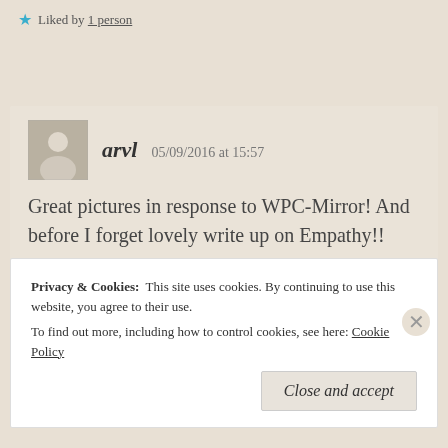Liked by 1 person
arvl   05/09/2016 at 15:57
Great pictures in response to WPC-Mirror! And before I forget lovely write up on Empathy!!
Privacy & Cookies:  This site uses cookies. By continuing to use this website, you agree to their use.
To find out more, including how to control cookies, see here: Cookie Policy
Close and accept